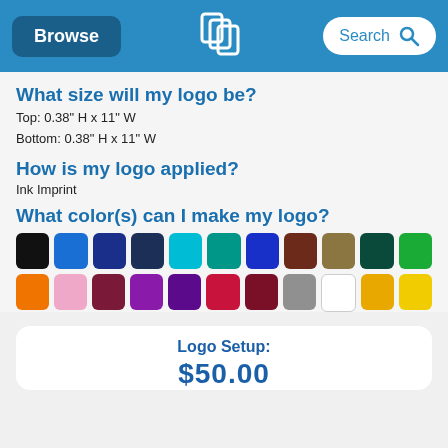Browse | [Logo] | Search
What size will my logo be?
Top: 0.38" H x 11" W
Bottom: 0.38" H x 11" W
How is my logo applied?
Ink Imprint
What color(s) can I make my logo?
[Figure (infographic): Grid of 22 color swatches in two rows: black, blue, dark navy, navy, cyan, teal, royal blue, brown, olive/tan, dark teal, green, orange, pink, maroon, purple, dark purple, red/crimson, dark maroon, gray, white, gold/amber, yellow]
Logo Setup:
$50.00